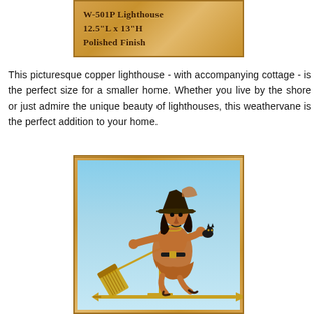[Figure (photo): A wooden plaque with text: W-501P Lighthouse, 12.5"L x 13"H, Polished Finish]
This picturesque copper lighthouse - with accompanying cottage - is the perfect size for a smaller home. Whether you live by the shore or just admire the unique beauty of lighthouses, this weathervane is the perfect addition to your home.
[Figure (photo): A copper and brass witch weathervane on a wooden plaque background with blue sky. The witch figure is depicted flying on a broomstick, with gold/brass accents, wearing a pointed hat. Below is a brass directional arrow.]